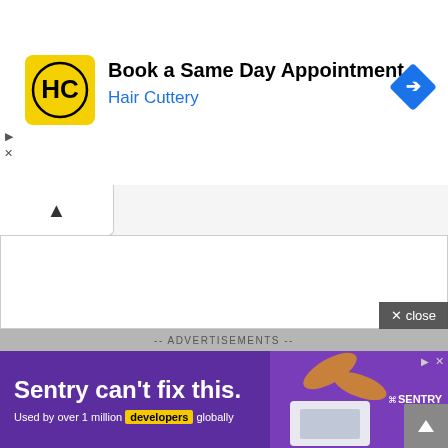[Figure (screenshot): Hair Cuttery advertisement banner with yellow HC logo, headline 'Book a Same Day Appointment', brand name 'Hair Cuttery' in blue, and a blue navigation diamond icon on the right. Ad controls (play and X) on the left edge.]
[Figure (screenshot): Collapsed panel with upward chevron (^) at top left of page content area. Below is a white content area with a gray close button reading 'x close' at bottom right.]
-- ADVERTISEMENTS --
[Figure (screenshot): Sentry advertisement banner on purple background. Left side shows text 'Sentry can’t fix this.' in large white bold text and 'Used by over 1 million developers globally' with developers highlighted in yellow. Right side shows an image of hands near a laptop. Sentry logo and name on far right.]